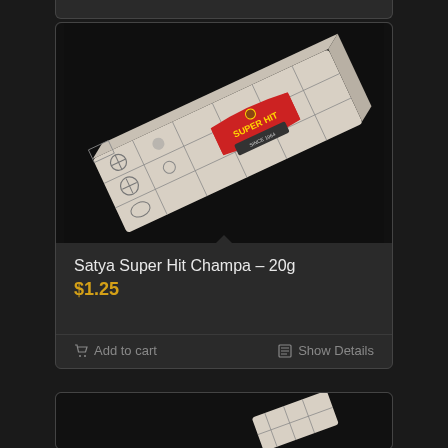[Figure (photo): Satya Super Hit Champa incense box — a rectangular gray/cream decorated box with ornate grid pattern and red 'Super Hit' banner label, shown at a diagonal angle on black background]
Satya Super Hit Champa – 20g
$1.25
Add to cart
Show Details
[Figure (photo): Partial view of another incense product card at bottom of page, showing corner of a product box]